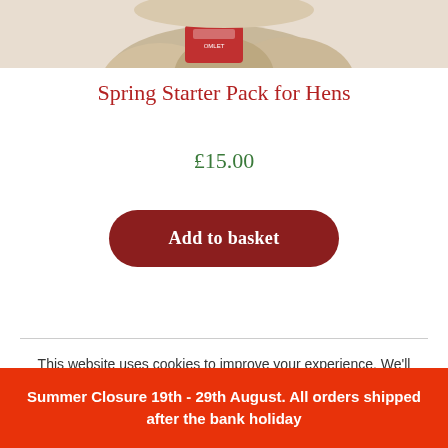[Figure (photo): Product image showing Spring Starter Pack for Hens at top of page]
Spring Starter Pack for Hens
£15.00
Add to basket
This website uses cookies to improve your experience. We'll assume
Summer Closure 19th - 29th August. All orders shipped after the bank holiday